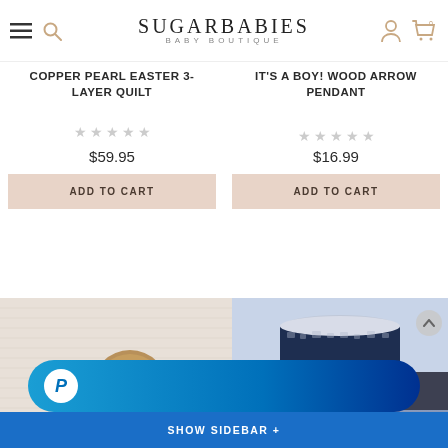SUGARBABIES BABY BOUTIQUE
COPPER PEARL EASTER 3-LAYER QUILT
$59.95
IT'S A BOY! WOOD ARROW PENDANT
$16.99
[Figure (photo): Product thumbnail showing wooden disc item on textured white background]
[Figure (photo): Product thumbnail showing navy blue and silver rolled blanket or quilt]